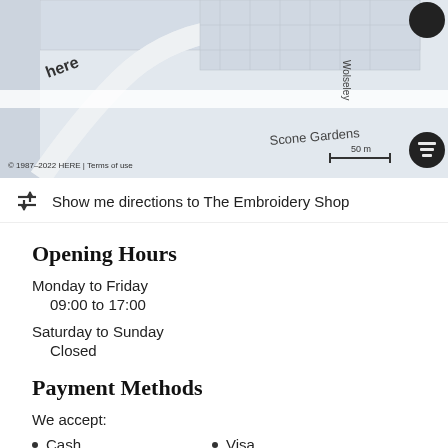[Figure (map): Street map showing location near Scone Gardens and Wolseley area, HERE maps, © 1987–2022 HERE, scale bar showing 50 m]
Show me directions to The Embroidery Shop
Opening Hours
Monday to Friday
09:00 to 17:00
Saturday to Sunday
Closed
Payment Methods
We accept:
Cash
Mastercard
Apple Pay
Google Pay
Visa
Amex
Android Pay